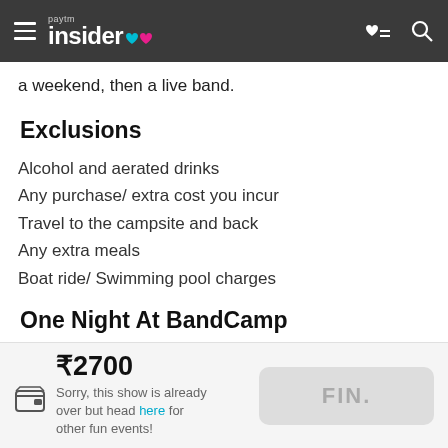Paytm Insider
a weekend, then a live band.
Exclusions
Alcohol and aerated drinks
Any purchase/ extra cost you incur
Travel to the campsite and back
Any extra meals
Boat ride/ Swimming pool charges
One Night At BandCamp
₹2700
Sorry, this show is already over but head here for other fun events!